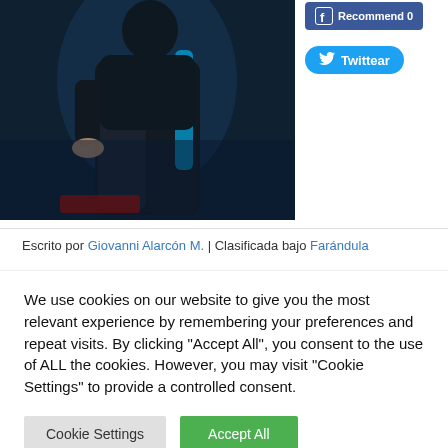[Figure (photo): A person in a dark outfit posing against a blue-lit background.]
[Figure (screenshot): Facebook Recommend 0 and Twitter Twittear social sharing buttons.]
Escrito por Giovanni Alarcón M. | Clasificada bajo Farándula
We use cookies on our website to give you the most relevant experience by remembering your preferences and repeat visits. By clicking "Accept All", you consent to the use of ALL the cookies. However, you may visit "Cookie Settings" to provide a controlled consent.